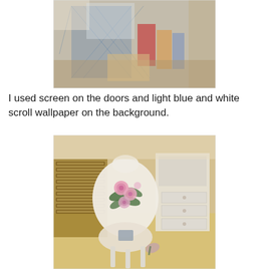[Figure (photo): Close-up photo of a miniature dollhouse interior showing screen doors and light blue and white scroll wallpaper background, with decorative books and items visible]
I used screen on the doors and light blue and white scroll wallpaper on the background.
[Figure (photo): Close-up photo of a miniature white dollhouse chair with pink roses painted on the back, sitting on a yellow floor with a white dresser and wicker basket visible in the background]